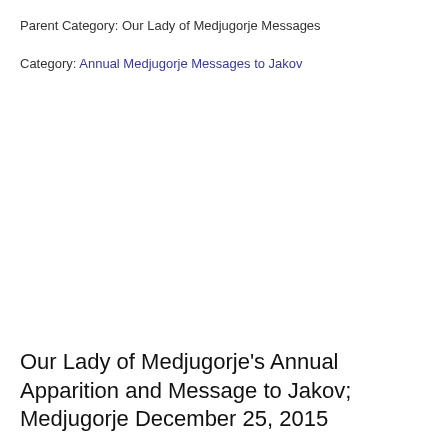Parent Category: Our Lady of Medjugorje Messages
Category: Annual Medjugorje Messages to Jakov
Our Lady of Medjugorje's Annual Apparition and Message to Jakov; Medjugorje December 25, 2015